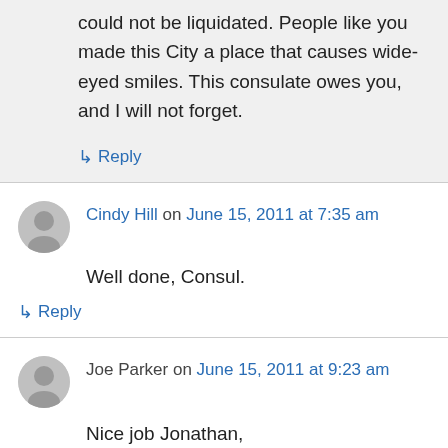could not be liquidated. People like you made this City a place that causes wide-eyed smiles. This consulate owes you, and I will not forget.
↳ Reply
Cindy Hill on June 15, 2011 at 7:35 am
Well done, Consul.
↳ Reply
Joe Parker on June 15, 2011 at 9:23 am
Nice job Jonathan,
Joe